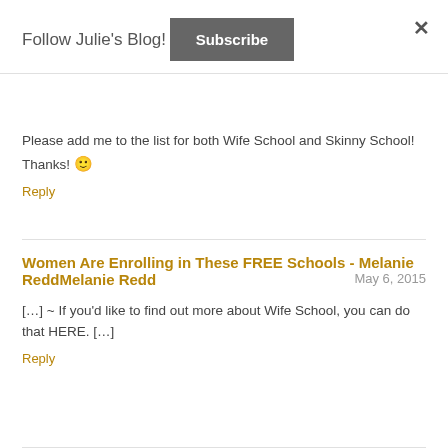Follow Julie's Blog!
Subscribe
Please add me to the list for both Wife School and Skinny School! Thanks! 🙂
Reply
Women Are Enrolling in These FREE Schools - Melanie ReddMelanie Redd
May 6, 2015
[…] ~ If you'd like to find out more about Wife School, you can do that HERE.  […]
Reply